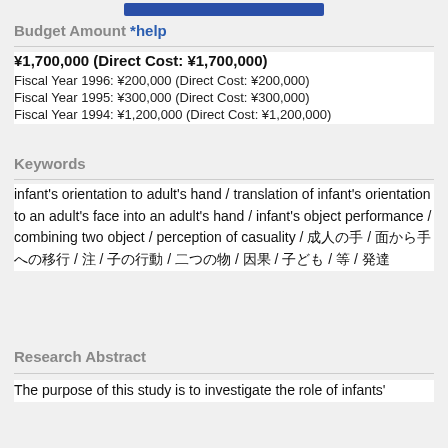[Figure (screenshot): Blue button at top of page]
Budget Amount *help
¥1,700,000 (Direct Cost: ¥1,700,000)
Fiscal Year 1996: ¥200,000 (Direct Cost: ¥200,000)
Fiscal Year 1995: ¥300,000 (Direct Cost: ¥300,000)
Fiscal Year 1994: ¥1,200,000 (Direct Cost: ¥1,200,000)
Keywords
infant's orientation to adult's hand / translation of infant's orientation to an adult's face into an adult's hand / infant's object performance / combining two object / perception of casuality / [Japanese text] / [Japanese text] / [Japanese text] / [Japanese text] / [Japanese text] / [Japanese text] / [Japanese text] / [Japanese text] / [Japanese text]
Research Abstract
The purpose of this study is to investigate the role of infants'